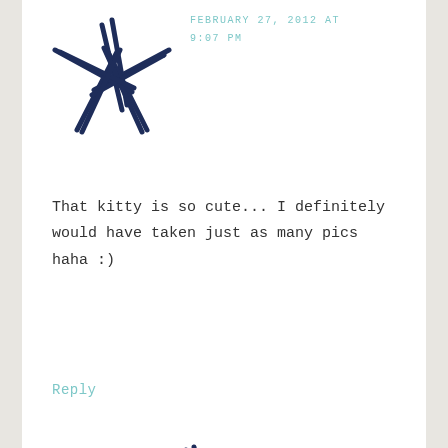[Figure (illustration): Hand-drawn star/asterisk avatar icon in dark navy blue, top-left comment]
FEBRUARY 27, 2012 AT 9:07 PM
That kitty is so cute... I definitely would have taken just as many pics haha :)
Reply
[Figure (illustration): Hand-drawn star/asterisk avatar icon in dark navy blue, second comment]
STEPHANIE says FEBRUARY 28, 2012 AT 1:06 AM